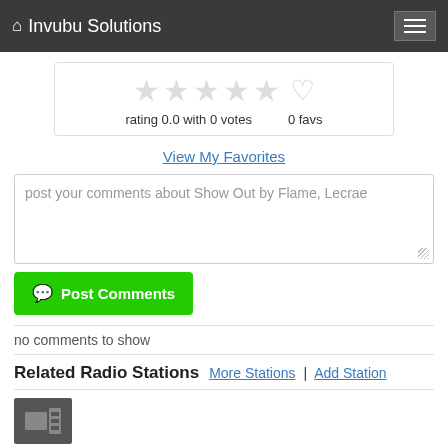Invubu Solutions
[Figure (other): Star rating widget showing 4 empty stars and a heart icon, with text 'rating 0.0 with 0 votes' and '0 favs']
View My Favorites
post your comments about Show Out by Flame, Lecrae
Post Comments
no comments to show
Related Radio Stations
More Stations | Add Station
[Figure (other): Grey station thumbnail icon]